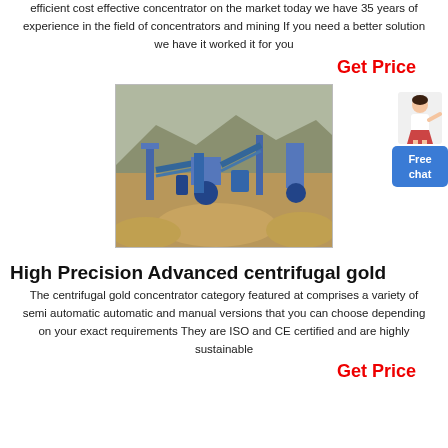efficient cost effective concentrator on the market today we have 35 years of experience in the field of concentrators and mining If you need a better solution we have it worked it for you
Get Price
[Figure (photo): Aerial view of a mining site with blue industrial concentrator equipment and conveyor belts in a rocky, arid landscape with mountains in the background.]
[Figure (illustration): Person (customer service representative) pointing, beside a blue Free chat button widget.]
High Precision Advanced centrifugal gold
The centrifugal gold concentrator category featured at comprises a variety of semi automatic automatic and manual versions that you can choose depending on your exact requirements They are ISO and CE certified and are highly sustainable
Get Price